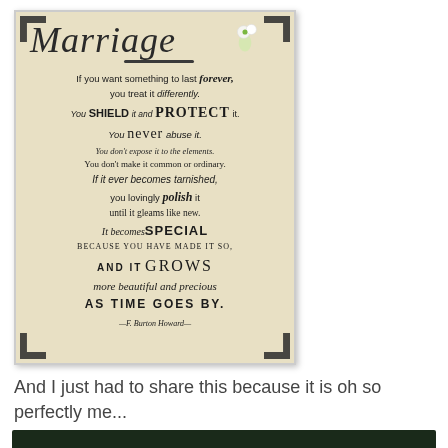[Figure (illustration): Decorative quote card on aged parchment background with corner ornaments and white flower decoration. Title 'Marriage' in italic script. Quote by F. Burton Howard about treating marriage like something precious.]
And I just had to share this because it is oh so perfectly me...
[Figure (screenshot): Bottom portion of a dark-themed image, partially visible at bottom of page.]